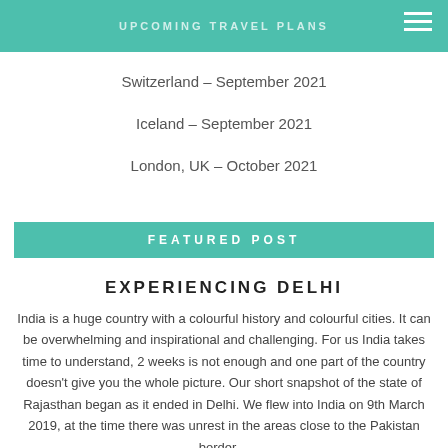UPCOMING TRAVEL PLANS
Switzerland – September 2021
Iceland – September 2021
London, UK – October 2021
FEATURED POST
EXPERIENCING DELHI
India is a huge country with a colourful history and colourful cities. It can be overwhelming and inspirational and challenging. For us India takes time to understand, 2 weeks is not enough and one part of the country doesn't give you the whole picture. Our short snapshot of the state of Rajasthan began as it ended in Delhi.  We flew into India on 9th March 2019, at the time there was unrest in the areas close to the Pakistan border…